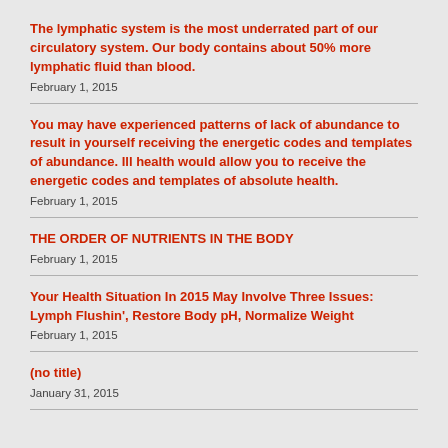The lymphatic system is the most underrated part of our circulatory system. Our body contains about 50% more lymphatic fluid than blood.
February 1, 2015
You may have experienced patterns of lack of abundance to result in yourself receiving the energetic codes and templates of abundance. Ill health would allow you to receive the energetic codes and templates of absolute health.
February 1, 2015
THE ORDER OF NUTRIENTS IN THE BODY
February 1, 2015
Your Health Situation In 2015 May Involve Three Issues: Lymph Flushin', Restore Body pH, Normalize Weight
February 1, 2015
(no title)
January 31, 2015